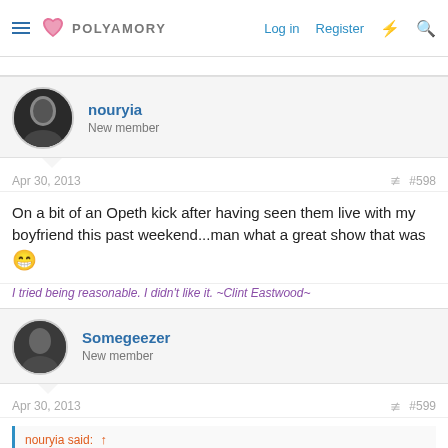POLYAMORY — Log in  Register
Apr 30, 2013  #598
On a bit of an Opeth kick after having seen them live with my boyfriend this past weekend...man what a great show that was 😁
I tried being reasonable. I didn't like it. ~Clint Eastwood~
Somegeezer — New member
Apr 30, 2013  #599
nouryia said: